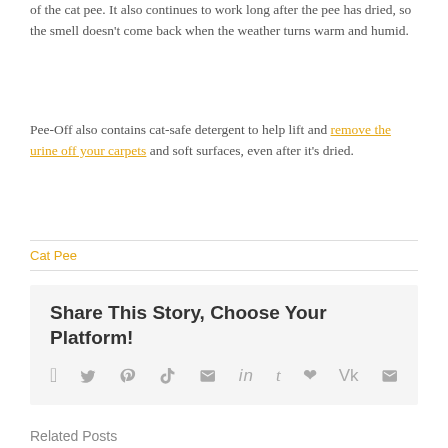of the cat pee. It also continues to work long after the pee has dried, so the smell doesn't come back when the weather turns warm and humid.
Pee-Off also contains cat-safe detergent to help lift and remove the urine off your carpets and soft surfaces, even after it's dried.
Cat Pee
Share This Story, Choose Your Platform!
[Figure (other): Social sharing icons: Facebook, Twitter, Reddit, LinkedIn, Tumblr, Pinterest, VK, Email]
Related Posts